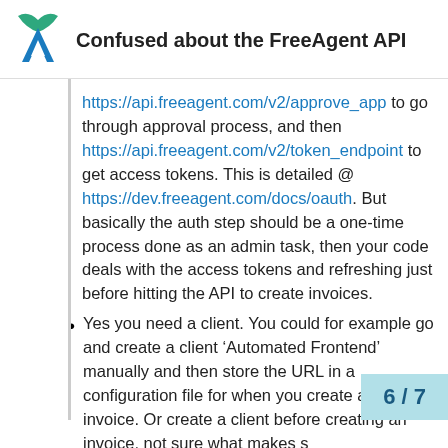Confused about the FreeAgent API
https://api.freeagent.com/v2/approve_app to go through approval process, and then https://api.freeagent.com/v2/token_endpoint to get access tokens. This is detailed @ https://dev.freeagent.com/docs/oauth. But basically the auth step should be a one-time process done as an admin task, then your code deals with the access tokens and refreshing just before hitting the API to create invoices.
Yes you need a client. You could for example go and create a client ‘Automated Frontend’ manually and then store the URL in a configuration file for when you create an invoice. Or create a client before creating an invoice, not sure what makes s…
6 / 7